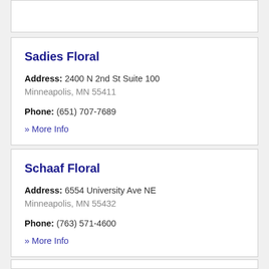Sadies Floral
Address: 2400 N 2nd St Suite 100 Minneapolis, MN 55411
Phone: (651) 707-7689
» More Info
Schaaf Floral
Address: 6554 University Ave NE Minneapolis, MN 55432
Phone: (763) 571-4600
» More Info